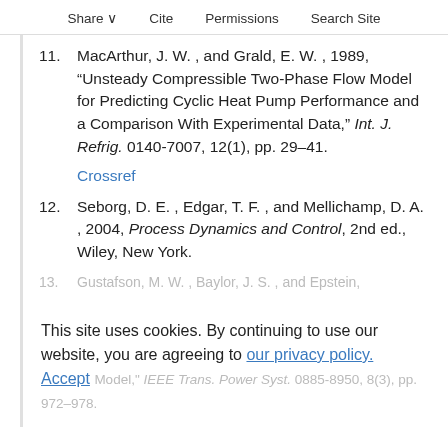Share  Cite  Permissions  Search Site
11. MacArthur, J. W. , and Grald, E. W. , 1989, “Unsteady Compressible Two-Phase Flow Model for Predicting Cyclic Heat Pump Performance and a Comparison With Experimental Data,” Int. J. Refrig. 0140-7007, 12(1), pp. 29–41.
Crossref
12. Seborg, D. E. , Edgar, T. F. , and Mellichamp, D. A. , 2004, Process Dynamics and Control, 2nd ed., Wiley, New York.
13. Gustafson, M. W. , Baylor, J. S. , and Epstein, ...
This site uses cookies. By continuing to use our website, you are agreeing to our privacy policy. Accept